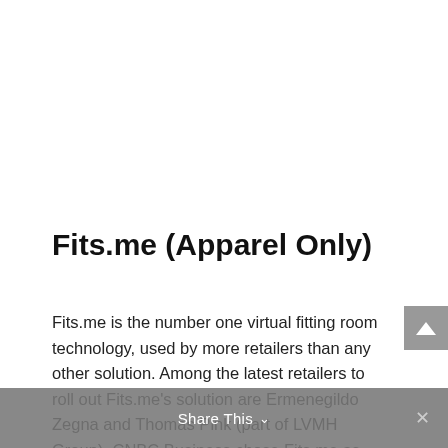Fits.me (Apparel Only)
Fits.me is the number one virtual fitting room technology, used by more retailers than any other solution. Among the latest retailers to roll out Fits.me's solution are Ermenegildo Zegna and Thomas Pink (part of LVMH Group). CNBC Business chose Fits.me as one of the Top 20 breakout brands for 2011, and more recently